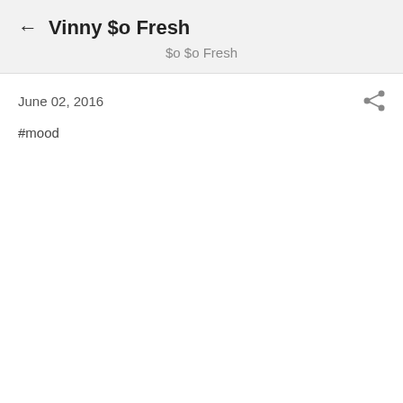Vinny $o Fresh
$o $o Fresh
June 02, 2016
#mood